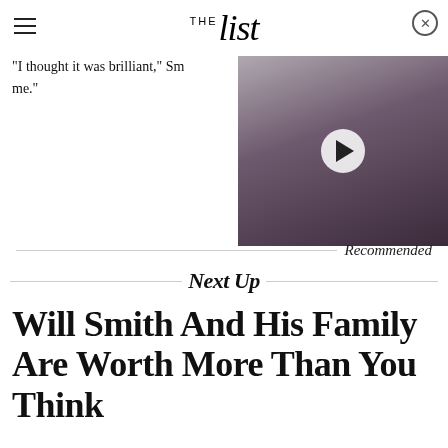THE list
"I thought it was brilliant," Sm... me.
[Figure (photo): Woman singing into a microphone with decorative earrings, with a play button overlay indicating a video thumbnail]
Recommended
Next Up
Will Smith And His Family Are Worth More Than You Think